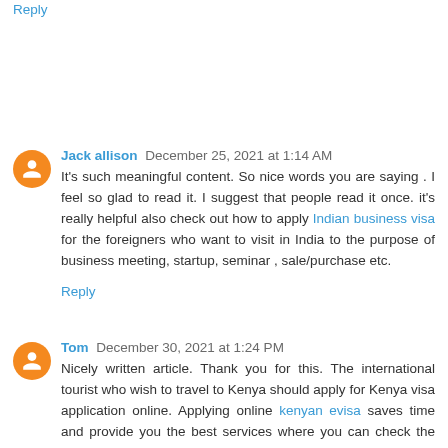Reply
Jack allison December 25, 2021 at 1:14 AM
It's such meaningful content. So nice words you are saying . I feel so glad to read it. I suggest that people read it once. it's really helpful also check out how to apply Indian business visa for the foreigners who want to visit in India to the purpose of business meeting, startup, seminar , sale/purchase etc.
Reply
Tom December 30, 2021 at 1:24 PM
Nicely written article. Thank you for this. The international tourist who wish to travel to Kenya should apply for Kenya visa application online. Applying online kenyan evisa saves time and provide you the best services where you can check the Kenya visa documents requirement and other